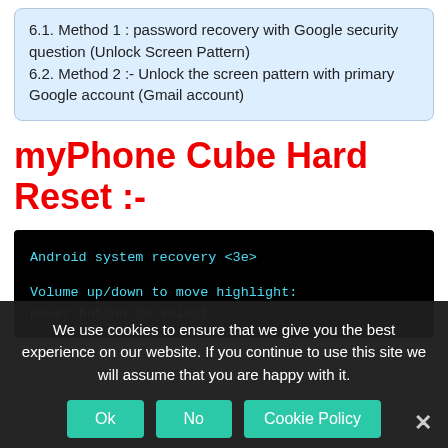6.1. Method 1 : password recovery with Google security question (Unlock Screen Pattern)
6.2. Method 2 :- Unlock the screen pattern with primary Google account (Gmail account)
myPhone Cube Hard Reset :-
[Figure (screenshot): Android system recovery screen showing text: 'Android system recovery <3e>' and 'Volume up/down to move highlight: power button to select.']
We use cookies to ensure that we give you the best experience on our website. If you continue to use this site we will assume that you are happy with it.